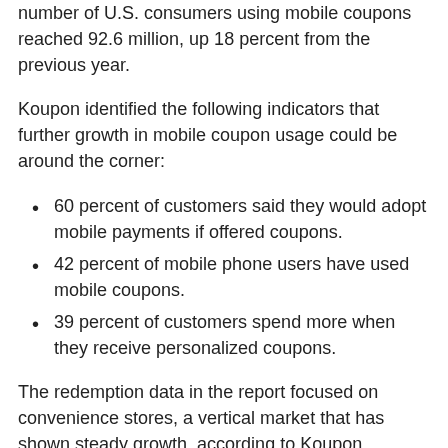number of U.S. consumers using mobile coupons reached 92.6 million, up 18 percent from the previous year.
Koupon identified the following indicators that further growth in mobile coupon usage could be around the corner:
60 percent of customers said they would adopt mobile payments if offered coupons.
42 percent of mobile phone users have used mobile coupons.
39 percent of customers spend more when they receive personalized coupons.
The redemption data in the report focused on convenience stores, a vertical market that has shown steady growth, according to Koupon. Researchers found that beverages topped the list of redemption categories for mobile coupons.